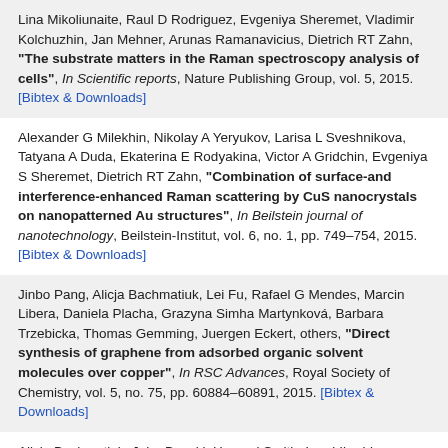Lina Mikoliunaite, Raul D Rodriguez, Evgeniya Sheremet, Vladimir Kolchuzhin, Jan Mehner, Arunas Ramanavicius, Dietrich RT Zahn, "The substrate matters in the Raman spectroscopy analysis of cells", In Scientific reports, Nature Publishing Group, vol. 5, 2015. [Bibtex & Downloads]
Alexander G Milekhin, Nikolay A Yeryukov, Larisa L Sveshnikova, Tatyana A Duda, Ekaterina E Rodyakina, Victor A Gridchin, Evgeniya S Sheremet, Dietrich RT Zahn, "Combination of surface-and interference-enhanced Raman scattering by CuS nanocrystals on nanopatterned Au structures", In Beilstein journal of nanotechnology, Beilstein-Institut, vol. 6, no. 1, pp. 749–754, 2015. [Bibtex & Downloads]
Jinbo Pang, Alicja Bachmatiuk, Lei Fu, Rafael G Mendes, Marcin Libera, Daniela Placha, Grazyna Simha Martynková, Barbara Trzebicka, Thomas Gemming, Juergen Eckert, others, "Direct synthesis of graphene from adsorbed organic solvent molecules over copper", In RSC Advances, Royal Society of Chemistry, vol. 5, no. 75, pp. 60884–60891, 2015. [Bibtex & Downloads]
Alicja Bachmatiuk, John Boeckl, Howard Smith, Imad Ibrahim, Thomas Gemming, Steffen Oswald, Wojciech Kazmierczak, Denys Makarov, Oliver G Schmidt, Juergen Eckert, others, "Vertical ...